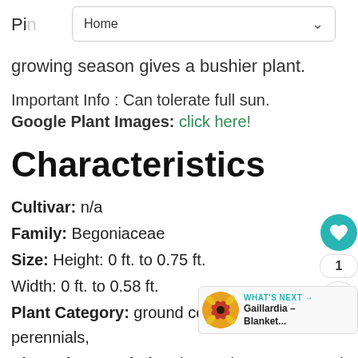Home
growing season gives a bushier plant.
Important Info : Can tolerate full sun.
Google Plant Images: click here!
Characteristics
Cultivar: n/a
Family: Begoniaceae
Size: Height: 0 ft. to 0.75 ft.
Width: 0 ft. to 0.58 ft.
Plant Category: ground covers, houseplants, perennials,
Plant Characteristics: low maintenance, seed start,